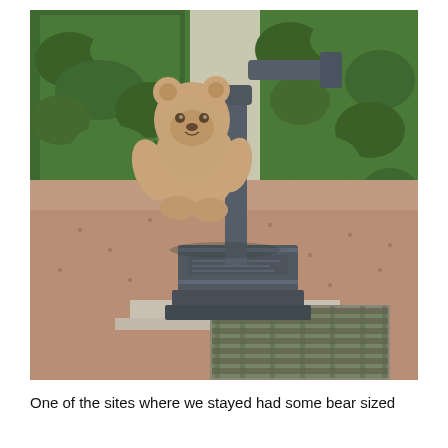[Figure (photo): A teddy bear placed next to a dark metal ornamental water pump or garden fixture on a decorative cast iron pedestal, set on a gravel path surrounded by neatly trimmed green hedges. A metal grid/grate is visible in the foreground at ground level.]
One of the sites where we stayed had some bear sized